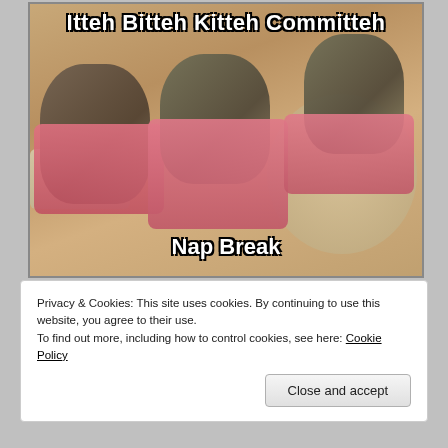[Figure (photo): Meme photo of three kittens lying on pink towels/blankets as if at a spa or committee meeting. Text overlay at top reads 'Itteh Bitteh Kitteh Committeh' and at bottom center reads 'Nap Break'.]
Privacy & Cookies: This site uses cookies. By continuing to use this website, you agree to their use.
To find out more, including how to control cookies, see here: Cookie Policy
Close and accept